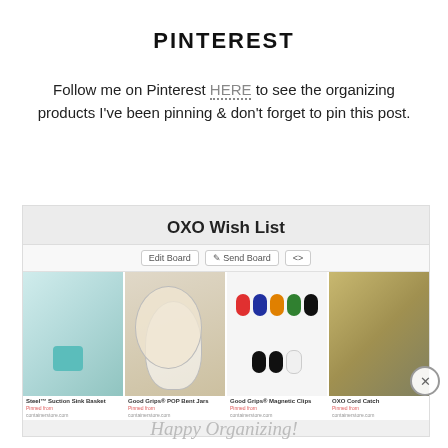PINTEREST
Follow me on Pinterest HERE to see the organizing products I've been pinning & don't forget to pin this post.
[Figure (screenshot): Screenshot of a Pinterest board titled 'OXO Wish List' showing four product pins: Steel™ Suction Sink Basket, Good Grips® POP Bent Jars, Good Grips® Magnetic Clips, and OXO Cord Catch. Each pin shows a product image with a title, 'Pinned from' label, and a source URL.]
Happy Organizing!